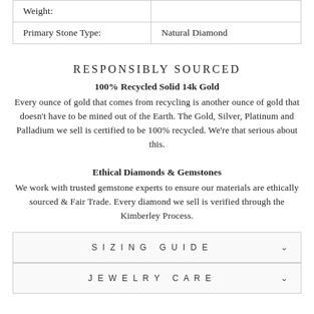|  |  |
| --- | --- |
| Weight: |  |
| Primary Stone Type: | Natural Diamond |
RESPONSIBLY SOURCED
100% Recycled Solid 14k Gold
Every ounce of gold that comes from recycling is another ounce of gold that doesn't have to be mined out of the Earth. The Gold, Silver, Platinum and Palladium we sell is certified to be 100% recycled. We're that serious about this.
Ethical Diamonds & Gemstones
We work with trusted gemstone experts to ensure our materials are ethically sourced & Fair Trade. Every diamond we sell is verified through the Kimberley Process.
SIZING GUIDE
JEWELRY CARE